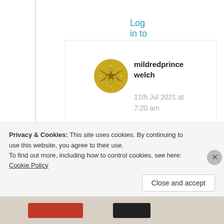Log in to Reply
[Figure (illustration): Gold/yellow geometric star/snowflake avatar icon for user mildredprincewelch]
mildredprince welch
11th Jul 2021 at 7:20 am
Suma, I have given you a pass but you continue to
Privacy & Cookies: This site uses cookies. By continuing to use this website, you agree to their use.
To find out more, including how to control cookies, see here: Cookie Policy
Close and accept